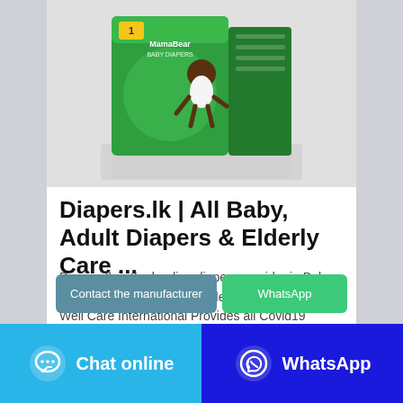[Figure (photo): Product photo of green baby diaper packaging box (MamaBear brand, size 1) with a baby crawling on it, shown on a light gray background with reflection]
Diapers.lk | All Baby, Adult Diapers & Elderly Care ...
Dispers.lk is the leading diapers provider in Baby Diapers, Adult Diapers & Elderly Care Products. Well Care International Provides all Covid19 prevention kits. We deliver to customer doorstep with best pricing. Use our …
Contact the manufacturer
WhatsApp
Chat online
WhatsApp